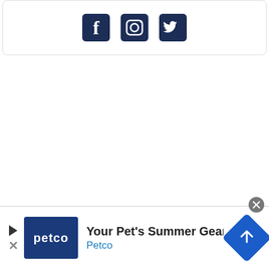[Figure (illustration): A card/box with three social media icons: Facebook, Instagram, and Twitter, displayed in dark navy blue color]
[Figure (infographic): Advertisement banner for Petco: shows Petco logo (white text on dark blue square), text 'Your Pet's Summer Gear Is Here' and 'Petco', with a blue diamond-shaped arrow navigation icon on the right. Close button (X in grey circle) at top right. Play/skip button and X button on the left side.]